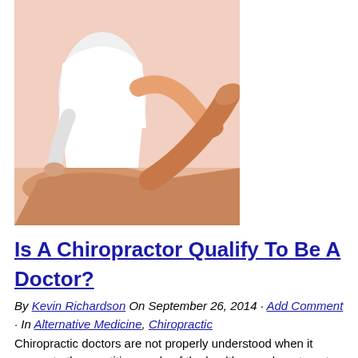[Figure (photo): A chiropractor in white clothing performing a leg manipulation on a patient lying on a table. The therapist is stretching/lifting the patient's leg in a clinical setting.]
Is A Chiropractor Qualify To Be A Doctor?
By Kevin Richardson On September 26, 2014 · Add Comment · In Alternative Medicine, Chiropractic
Chiropractic doctors are not properly understood when it comes to the practitioner role of the health care department. Since the last